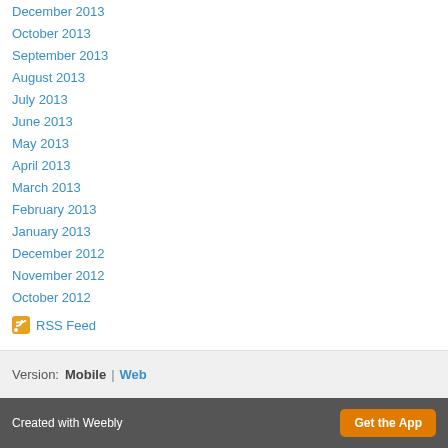December 2013
October 2013
September 2013
August 2013
July 2013
June 2013
May 2013
April 2013
March 2013
February 2013
January 2013
December 2012
November 2012
October 2012
RSS Feed
Version: Mobile | Web
Created with Weebly | Get the App